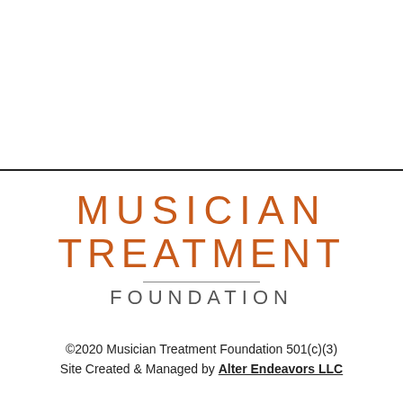[Figure (logo): Musician Treatment Foundation logo: two lines of large orange uppercase text reading MUSICIAN and TREATMENT, with a horizontal divider line, then FOUNDATION in smaller gray uppercase letters below.]
©2020 Musician Treatment Foundation 501(c)(3)
Site Created & Managed by Alter Endeavors LLC